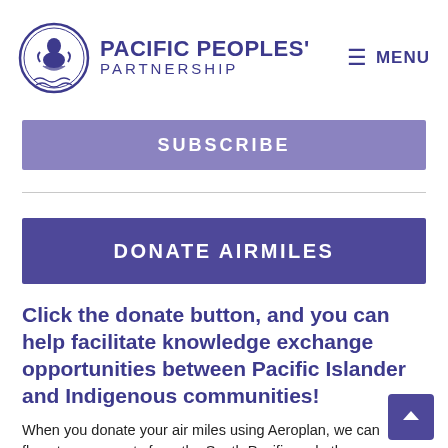PACIFIC PEOPLES' PARTNERSHIP
SUBSCRIBE
DONATE AIRMILES
Click the donate button, and you can help facilitate knowledge exchange opportunities between Pacific Islander and Indigenous communities!
When you donate your air miles using Aeroplan, we can fly out more guests from the South Pacific and other areas of Canada to attend events such as Red Tide, our Indigenous youth-led climate summit. Your donation helps us to